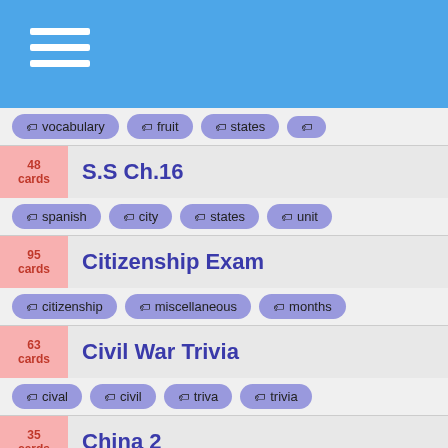Navigation menu with hamburger icon
vocabulary, fruit, states
48 cards — S.S Ch.16
spanish, city, states, unit
95 cards — Citizenship Exam
citizenship, miscellaneous, months
63 cards — Civil War Trivia
cival, civil, triva, trivia
35 cards — China 2
religion, society, network
48 cards — Social Studies Year Review
chemistry, city, social-studies
60 cards — Test #2 2
biology, medicine, months